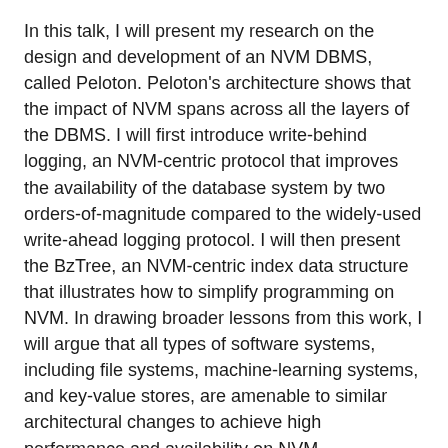In this talk, I will present my research on the design and development of an NVM DBMS, called Peloton. Peloton's architecture shows that the impact of NVM spans across all the layers of the DBMS. I will first introduce write-behind logging, an NVM-centric protocol that improves the availability of the database system by two orders-of-magnitude compared to the widely-used write-ahead logging protocol. I will then present the BzTree, an NVM-centric index data structure that illustrates how to simplify programming on NVM. In drawing broader lessons from this work, I will argue that all types of software systems, including file systems, machine-learning systems, and key-value stores, are amenable to similar architectural changes to achieve high performance and availability on NVM.
Bio: Joy Arulraj is a Ph.D. candidate at Carnegie Mellon University. His research interests are in database systems and data science. As part of his dissertation work, he has studied and built the first non-volatile memory database